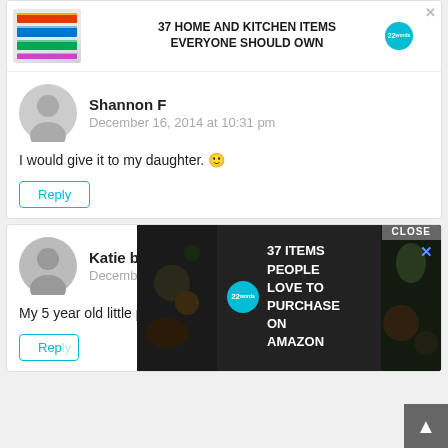[Figure (screenshot): Advertisement banner: colorful zip-lock bags image with text '37 HOME AND KITCHEN ITEMS EVERYONE SHOULD OWN' and a teal badge with '22']
Shannon F
December 16, 2014 at 10:31 pm
I would give it to my daughter. 🙂
Reply
Katie b
December 16, 2014 at 10:37 pm
My 5 year old little princess.
Reply
[Figure (screenshot): Overlay advertisement: dark background with food/kitchen images, teal badge '22', text '37 ITEMS PEOPLE LOVE TO PURCHASE ON AMAZON', close button and X button, scroll-to-top arrow button]